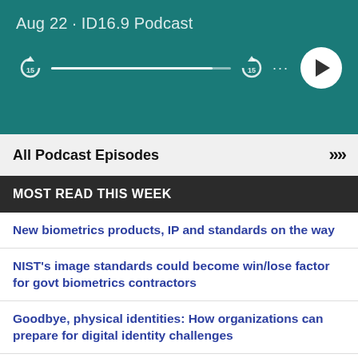[Figure (screenshot): Podcast player UI with teal background showing date 'Aug 22 · ID16.9 Podcast', a progress bar with rewind/forward 15s buttons, a dots menu, and a white circular play button]
All Podcast Episodes >>>
MOST READ THIS WEEK
New biometrics products, IP and standards on the way
NIST's image standards could become win/lose factor for govt biometrics contractors
Goodbye, physical identities: How organizations can prepare for digital identity challenges
Pakistani political 'hecklers' threatened with blocked biometric ID, bank accounts
Google Wallet enters 6 new countries, hints at digital ID feature for US airport checkpoints
SEC RFID shows off biometric smart card with sensor under PVC